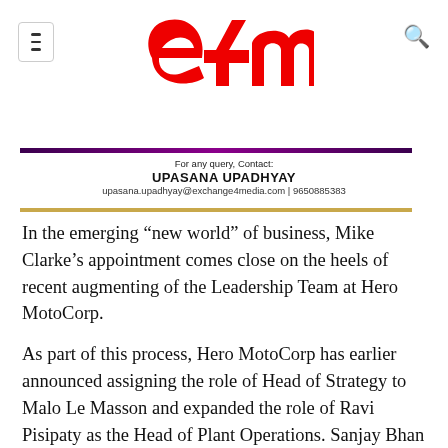e4m — For any query, Contact: UPASANA UPADHYAY upasana.upadhyay@exchange4media.com | 9650885383
In the emerging “new world” of business, Mike Clarke’s appointment comes close on the heels of recent augmenting of the Leadership Team at Hero MotoCorp.
As part of this process, Hero MotoCorp has earlier announced assigning the role of Head of Strategy to Malo Le Masson and expanded the role of Ravi Pisipaty as the Head of Plant Operations. Sanjay Bhan has returned to the Company as the Head of Global Business (GB) to play a key role in the rapid expansion and consolidation of Hero in the international markets. Mahesh Kaikini, the Head of